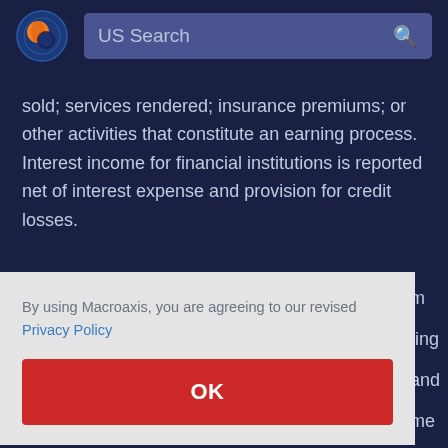US Search
sold; services rendered; insurance premiums; or other activities that constitute an earning process. Interest income for financial institutions is reported net of interest expense and provision for credit losses.
By using Macroaxis, you are agreeing to our revised Privacy Policy
OK
depreciation. Operating income of Harley-Davidson is